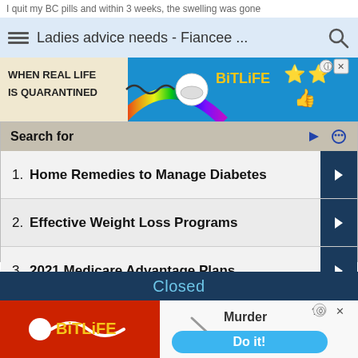I quit my BC pills and within 3 weeks, the swelling was gone
Ladies advice needs - Fiancee ...
[Figure (screenshot): BitLife advertisement banner: 'WHEN REAL LIFE IS QUARANTINED' with colorful rainbow and cartoon character]
Search for
1.  Home Remedies to Manage Diabetes
2.  Effective Weight Loss Programs
3.  2021 Medicare Advantage Plans
4.  Treatment for Chronic Pain
5.  Affordable Health Insurance
Closed
[Figure (screenshot): BitLife advertisement: Murder - Do it! with sperm logo on red background]